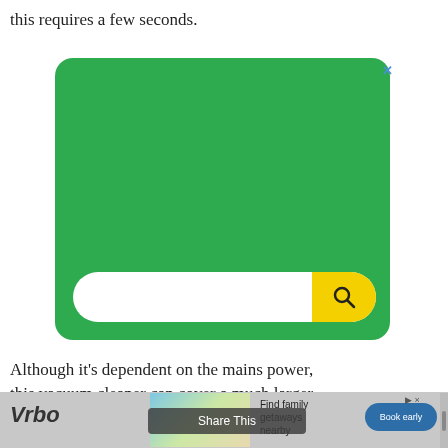this requires a few seconds.
[Figure (illustration): Green rounded rectangle advertisement with a white search bar at the bottom. The search bar has a yellow rounded button on the right with a magnifying glass icon. A blue X close button appears at the top right corner of the ad.]
Although it's dependent on the mains power, this vacuum cleaner can cover a much larger area than cordless vacuums. This is all down
[Figure (illustration): Bottom banner advertisement for Vrbo. Shows the Vrbo logo in italic bold, a vacation scene image, text reading 'Find family getaways nearby', a blue 'Book early' button, and a 'Share This' overlay button. An ad indicator arrow and X close button appear at top right.]